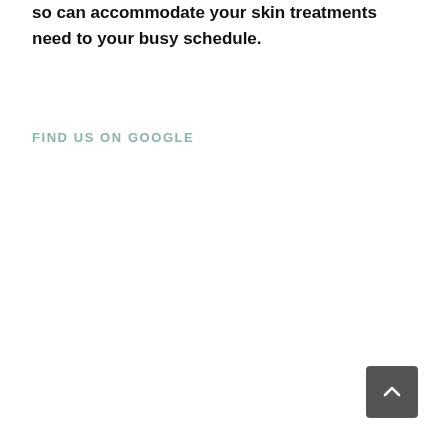so can accommodate your skin treatments need to your busy schedule.
FIND US ON GOOGLE